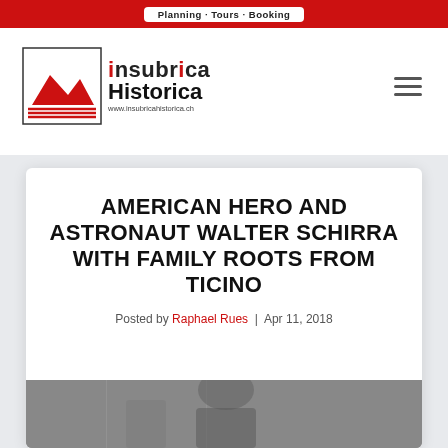Planning · Tours · Booking
[Figure (logo): Insubrica Historica logo with red mountain illustration and text 'Insubrica Historica www.insubricahistorica.ch']
AMERICAN HERO AND ASTRONAUT WALTER SCHIRRA WITH FAMILY ROOTS FROM TICINO
Posted by Raphael Rues | Apr 11, 2018
[Figure (photo): Black and white photograph visible at bottom of card, partially cropped]